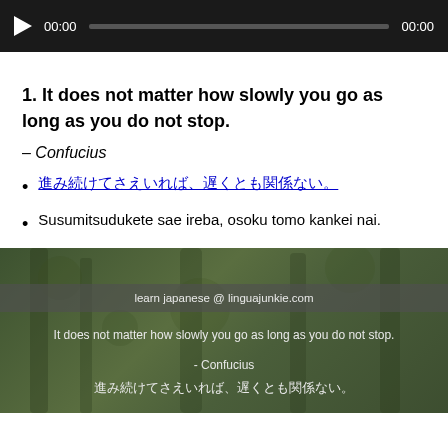[Figure (screenshot): Audio player bar with play button, 00:00 timestamps and a progress bar on dark background]
1. It does not matter how slowly you go as long as you do not stop.
– Confucius
進み続けてさえいれば、遅くとも関係ない。
Susumitsudukete sae ireba, osoku tomo kankei nai.
[Figure (photo): Forest background image with overlaid text: 'learn japanese @ linguajunkie.com', the Confucius quote in English, '- Confucius', and the Japanese translation 進み続けてさえいれば、遅くとも関係ない。]